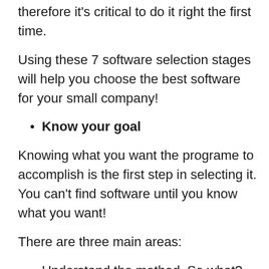therefore it's critical to do it right the first time.
Using these 7 software selection stages will help you choose the best software for your small company!
Know your goal
Knowing what you want the programe to accomplish is the first step in selecting it. You can't find software until you know what you want!
There are three main areas:
Understand the method. So what?